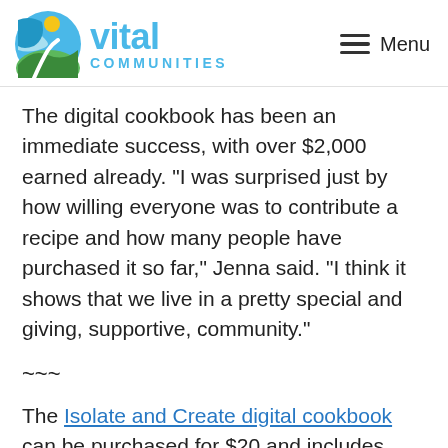vital communities | Menu
The digital cookbook has been an immediate success, with over $2,000 earned already. “I was surprised just by how willing everyone was to contribute a recipe and how many people have purchased it so far,” Jenna said. “I think it shows that we live in a pretty special and giving, supportive, community.”
~~~
The Isolate and Create digital cookbook can be purchased for $20 and includes delicious recipes from Putney Mountain Spirits in Putney, Mad River Distillers in Waitsfield, Kate Wise Cocktails and Spruce Peak in Stowe, Skunk Hollow Tavern and The Hartland Diner in